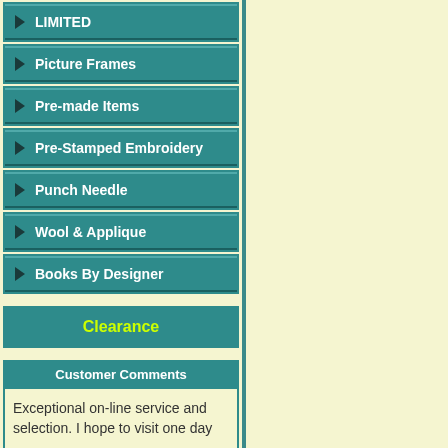LIMITED
Picture Frames
Pre-made Items
Pre-Stamped Embroidery
Punch Needle
Wool & Applique
Books By Designer
Clearance
Customer Comments
Exceptional on-line service and selection. I hope to visit one day
Janet S
Send us yours
Featured New Item